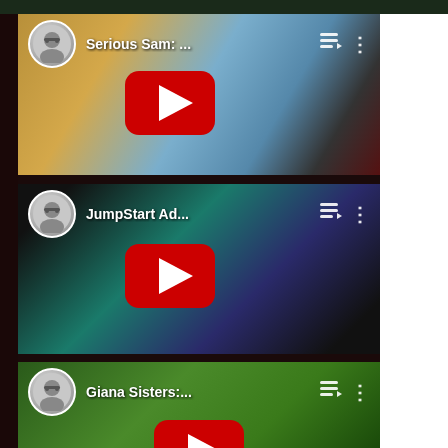[Figure (screenshot): YouTube app screenshot showing a list of video thumbnails. First video: 'Serious Sam: ...' with a game thumbnail showing a desert platformer scene with a creature. Second video: 'JumpStart Ad...' with a dark teal game thumbnail. Third video: 'Giana Sisters:...' with a green jungle game thumbnail showing 'Twisted Dreams Director's Cut' logo. Each card has a user avatar (gray illustrated face), video title, queue icon, and more options icon. Red YouTube play buttons overlay each thumbnail.]
Serious Sam: ...
JumpStart Ad...
Giana Sisters:...